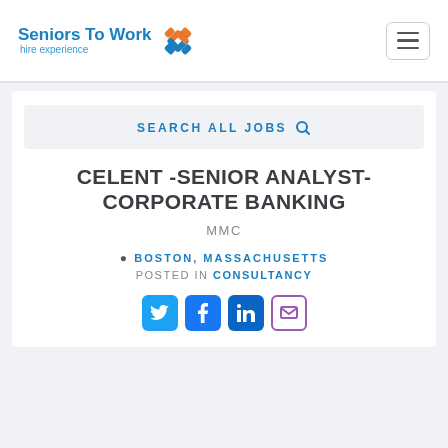Seniors To Work — hire experience
SEARCH ALL JOBS
CELENT -SENIOR ANALYST- CORPORATE BANKING
MMC
BOSTON, MASSACHUSETTS
POSTED IN CONSULTANCY